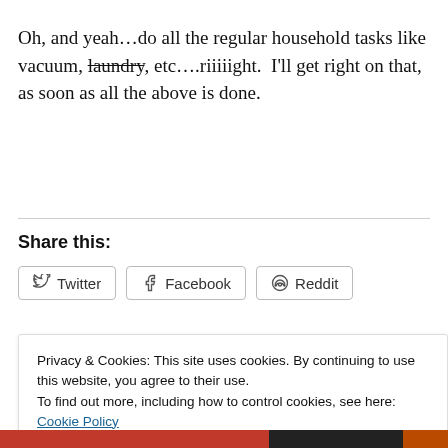Oh, and yeah…do all the regular household tasks like vacuum, laundry, etc….riiiiight.  I'll get right on that, as soon as all the above is done.
Share this:
Twitter  Facebook  Reddit
Privacy & Cookies: This site uses cookies. By continuing to use this website, you agree to their use.
To find out more, including how to control cookies, see here: Cookie Policy
Close and accept